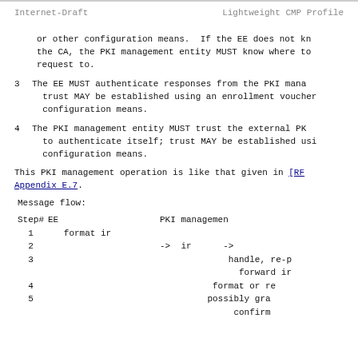Internet-Draft    Lightweight CMP Profile
or other configuration means.  If the EE does not know the CA, the PKI management entity MUST know where to send the request to.
3  The EE MUST authenticate responses from the PKI management entity; trust MAY be established using an enrollment voucher or other configuration means.
4  The PKI management entity MUST trust the external PKI EE certificate to authenticate itself; trust MAY be established using other configuration means.
This PKI management operation is like that given in [RFC...] Appendix E.7.
Message flow:
| Step# | EE | PKI management |
| --- | --- | --- |
| 1 | format ir |  |
| 2 |  | ->  ir  -> |
| 3 |  | handle, re-p... forward ir |
| 4 |  | format or re |
| 5 |  | possibly gra... confirm |